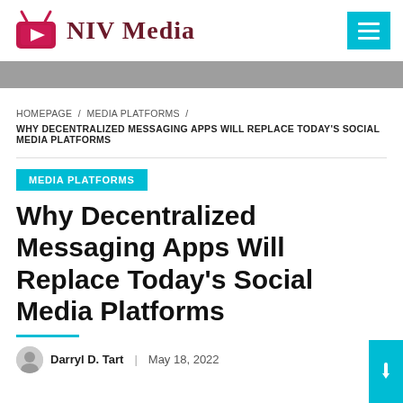NIV Media
HOMEPAGE / MEDIA PLATFORMS / WHY DECENTRALIZED MESSAGING APPS WILL REPLACE TODAY'S SOCIAL MEDIA PLATFORMS
MEDIA PLATFORMS
Why Decentralized Messaging Apps Will Replace Today's Social Media Platforms
Darryl D. Tart  |  May 18, 2022